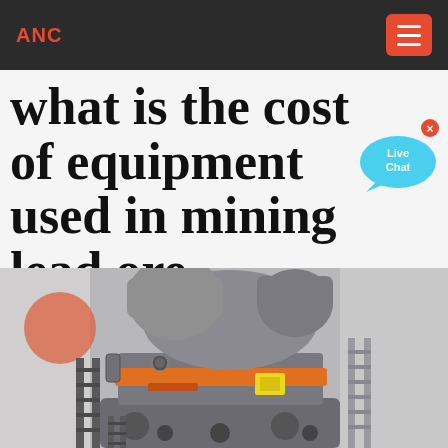ANC
what is the cost of equipment used in mining lead ore
[Figure (photo): Industrial mining crusher / cone crusher machine with orange accent ring, gray body, ladder frames on sides, photographed in a facility]
[Figure (other): Live Chat speech bubble icon in blue with an X close button]